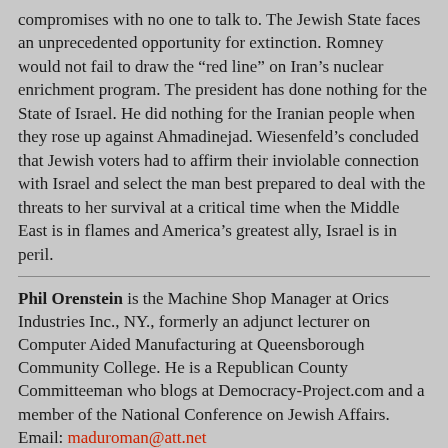compromises with no one to talk to. The Jewish State faces an unprecedented opportunity for extinction. Romney would not fail to draw the “red line” on Iran’s nuclear enrichment program. The president has done nothing for the State of Israel. He did nothing for the Iranian people when they rose up against Ahmadinejad. Wiesenfeld’s concluded that Jewish voters had to affirm their inviolable connection with Israel and select the man best prepared to deal with the threats to her survival at a critical time when the Middle East is in flames and America’s greatest ally, Israel is in peril.
Phil Orenstein is the Machine Shop Manager at Orics Industries Inc., NY., formerly an adjunct lecturer on Computer Aided Manufacturing at Queensborough Community College. He is a Republican County Committeeman who blogs at Democracy-Project.com and a member of the National Conference on Jewish Affairs. Email: maduroman@att.net
Source: http://frontpagemag.com/2012/phil-orenstein/obama-or-romney-who-is-better-for-israel/
Copyright - Original materials copyright (c) by the authors.